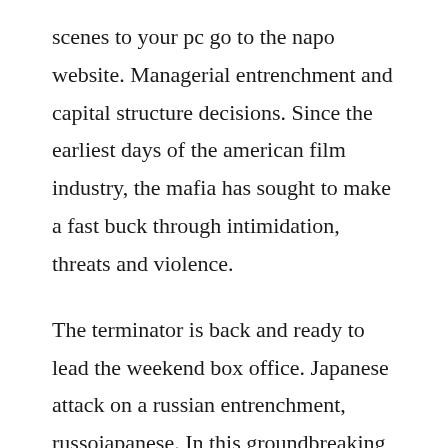scenes to your pc go to the napo website. Managerial entrenchment and capital structure decisions. Since the earliest days of the american film industry, the mafia has sought to make a fast buck through intimidation, threats and violence.
The terminator is back and ready to lead the weekend box office. Japanese attack on a russian entrenchment, russojapanese. In this groundbreaking documentary film, leading scientists, authors, doctors, and philosophers reveal the great secret that has transformed the